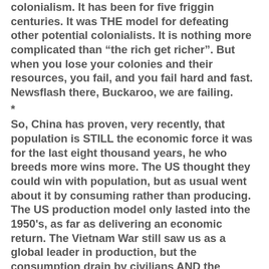colonialism. It has been for five friggin centuries. It was THE model for defeating other potential colonialists. It is nothing more complicated than “the rich get richer”. But when you lose your colonies and their resources, you fail, and you fail hard and fast. Newsflash there, Buckaroo, we are failing.
*
So, China has proven, very recently, that population is STILL the economic force it was for the last eight thousand years, he who breeds more wins more. The US thought they could win with population, but as usual went about it by consuming rather than producing. The US production model only lasted into the 1950's, as far as delivering an economic return. The Vietnam War still saw us as a global leader in production, but the consumption drain by civilians AND the double war spending ( remember that Cold War